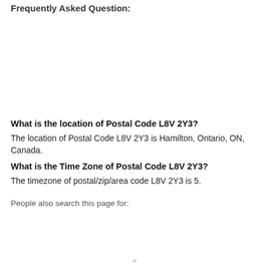Frequently Asked Question:
What is the location of Postal Code L8V 2Y3?
The location of Postal Code L8V 2Y3 is Hamilton, Ontario, ON, Canada.
What is the Time Zone of Postal Code L8V 2Y3?
The timezone of postal/zip/area code L8V 2Y3 is 5.
People also search this page for: